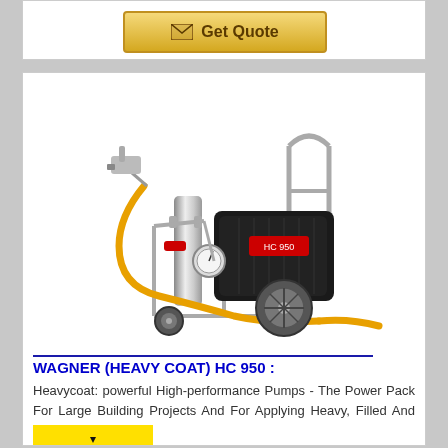[Figure (other): Get Quote button with envelope icon on golden/yellow gradient background]
[Figure (photo): Wagner HC 950 heavy coat airless paint sprayer machine with orange hose and metal frame on wheels]
WAGNER (HEAVY COAT) HC 950 :
Heavycoat: powerful High-performance Pumps - The Power Pack For Large Building Projects And For Applying Heavy, Filled And High ...
[Figure (logo): Wagner brand logo - yellow background with black Wagner text and logo mark]